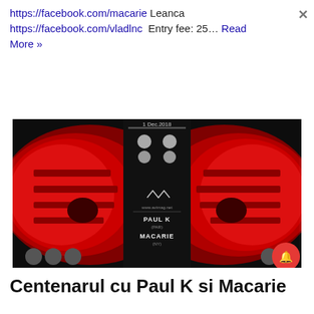https://facebook.com/macarie Leanca https://facebook.com/vladlnc  Entry fee: 25… Read More »
[Figure (photo): Event poster for 1 Dec. 2018 showing two red illuminated face masks mirrored, with text PAUL K (PAR), MACARIE (NY), logo AVI and www.avimag.net]
Centenarul cu Paul K si Macarie